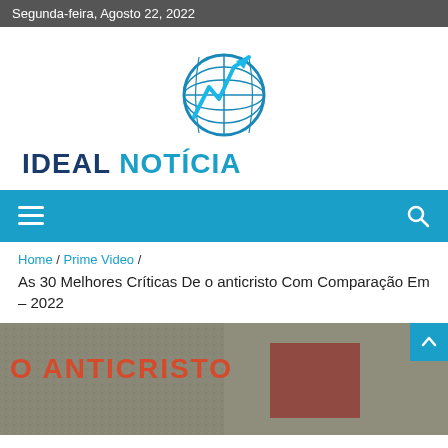Segunda-feira, Agosto 22, 2022
[Figure (logo): Ideal Notícia logo: globe with lightning bolt arrow, blue tones]
IDEAL NOTÍCIA
[Figure (other): Navigation bar with hamburger menu icon and search icon on teal background]
Home / Prime Video / As 30 Melhores Críticas De o anticristo Com Comparação Em – 2022
[Figure (photo): Book or movie cover showing 'O ANTICRISTO' text in red/orange letters on a textured background]